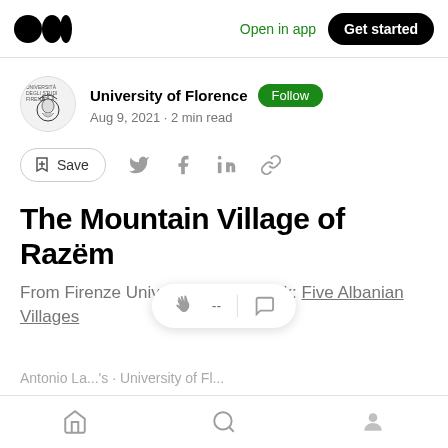Open in app | Get started
University of Florence · Follow
Aug 9, 2021 · 2 min read
Save
The Mountain Village of Razëm
From Firenze University Press Book: Five Albanian Villages
Home | Search | Profile